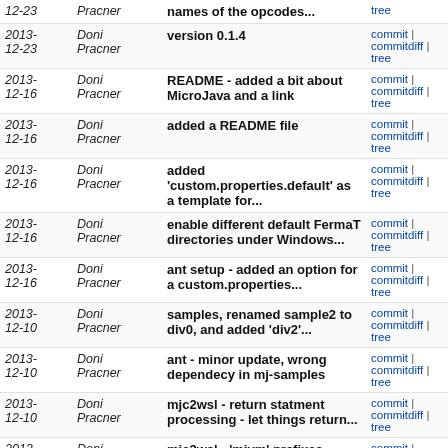| Date | Author | Message | Links |
| --- | --- | --- | --- |
| 2013-12-23 | Doni Pracner | names of the opcodes... | commit | commitdiff | tree |
| 2013-12-23 | Doni Pracner | version 0.1.4 | commit | commitdiff | tree |
| 2013-12-16 | Doni Pracner | README - added a bit about MicroJava and a link | commit | commitdiff | tree |
| 2013-12-16 | Doni Pracner | added a README file | commit | commitdiff | tree |
| 2013-12-16 | Doni Pracner | added 'custom.properties.default' as a template for... | commit | commitdiff | tree |
| 2013-12-16 | Doni Pracner | enable different default FermaT directories under Windows... | commit | commitdiff | tree |
| 2013-12-16 | Doni Pracner | ant setup - added an option for a custom.properties... | commit | commitdiff | tree |
| 2013-12-10 | Doni Pracner | samples, renamed sample2 to div0, and added 'div2'... | commit | commitdiff | tree |
| 2013-12-10 | Doni Pracner | ant - minor update, wrong dependecy in mj-samples | commit | commitdiff | tree |
| 2013-12-10 | Doni Pracner | mjc2wsl - return statment processing - let things return... | commit | commitdiff | tree |
| 2013-12-10 | Doni Pracner | mjc2wsl - 'mjvm' prefixes added to variables that represent... | commit | commitdiff | tree |
| 2013-12-10 | Doni Pracner | mjc2wsl - CALL op added, Mstack operations added | commit | commitdiff | tree |
| 2013-12-10 | Doni Pracner | mjc2wsl - op code processing - everything is ordered... | commit | commitdiff | tree |
| 2013-11-26 | Doni Pracner | mjc2wsl - up the version number | commit | commitdiff | tree |